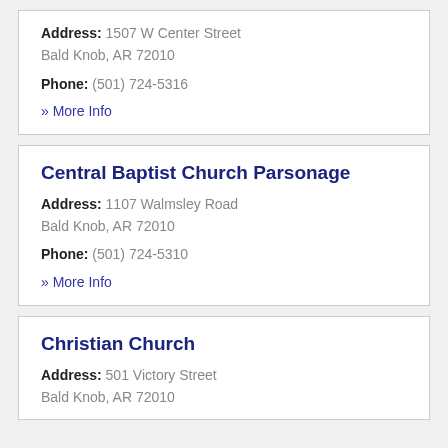Address: 1507 W Center Street Bald Knob, AR 72010
Phone: (501) 724-5316
» More Info
Central Baptist Church Parsonage
Address: 1107 Walmsley Road Bald Knob, AR 72010
Phone: (501) 724-5310
» More Info
Christian Church
Address: 501 Victory Street Bald Knob, AR 72010